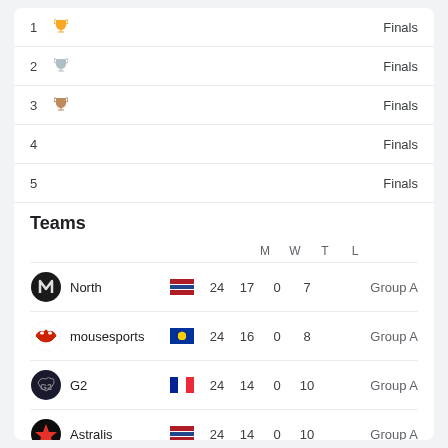| # | Trophy | Finals |
| --- | --- | --- |
| 1 | 🏆 | Finals |
| 2 | 🏆 | Finals |
| 3 | 🏆 | Finals |
| 4 |  | Finals |
| 5 |  | Finals |
Teams
| Teams | M | W | T | L |  |
| --- | --- | --- | --- | --- | --- |
| North | 24 | 17 | 0 | 7 | Group A |
| mousesports | 24 | 16 | 0 | 8 | Group A |
| G2 | 24 | 14 | 0 | 10 | Group A |
| Astralis | 24 | 14 | 0 | 10 | Group A |
Detailed event results · Data from HLTV.org
Show more event information